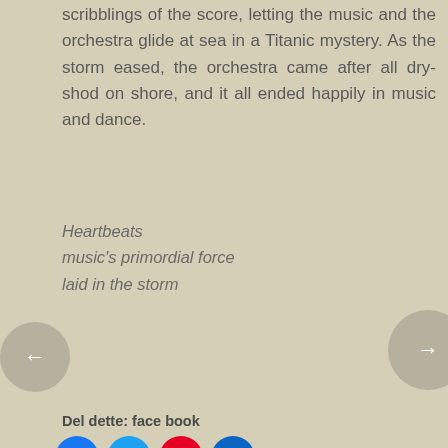scribblings of the score, letting the music and the orchestra glide at sea in a Titanic mystery. As the storm eased, the orchestra came after all dry-shod on shore, and it all ended happily in music and dance.
Heartbeats
music's primordial force
laid in the storm
Del dette: face book
[Figure (other): Social media share buttons: Facebook (blue), Twitter (cyan), Pinterest (red), LinkedIn (dark blue) as circular icon buttons]
Like this:
Loading